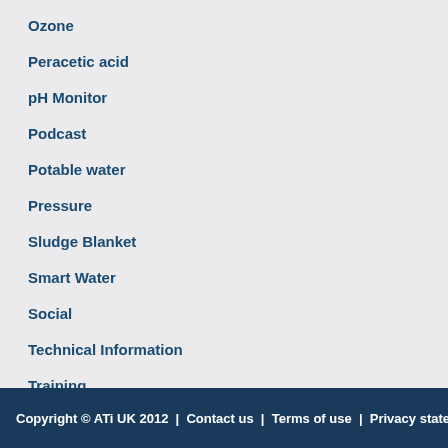Ozone
Peracetic acid
pH Monitor
Podcast
Potable water
Pressure
Sludge Blanket
Smart Water
Social
Technical Information
Training
Turbidity
Waste Water
Water Treatment
Copyright © ATi UK 2012  |  Contact us  |  Terms of use  |  Privacy statement  |  S